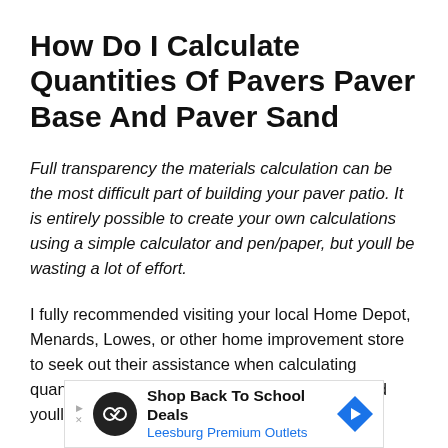How Do I Calculate Quantities Of Pavers Paver Base And Paver Sand
Full transparency the materials calculation can be the most difficult part of building your paver patio. It is entirely possible to create your own calculations using a simple calculator and pen/paper, but youll be wasting a lot of effort.
I fully recommended visiting your local Home Depot, Menards, Lowes, or other home improvement store to seek out their assistance when calculating quantities of pavers, paver base, and paver sand youll need for your project.
[Figure (other): Advertisement banner for Leesburg Premium Outlets - Shop Back To School Deals, with circular logo icon and blue diamond arrow]